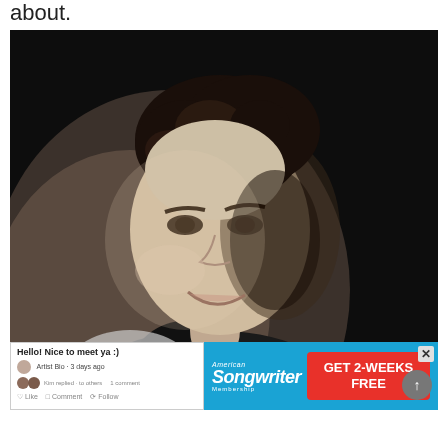about.
[Figure (photo): Black and white portrait photo of a young man with curly hair, smiling, wearing a dark vest or jacket, photographed against a dark background.]
[Figure (screenshot): Overlay UI element showing a social media comment panel with text 'Hello! Nice to meet ya :)' and a user avatar and reply text.]
[Figure (other): Advertisement for American Songwriter Membership offering GET 2-WEEKS FREE with a blue and red color scheme.]